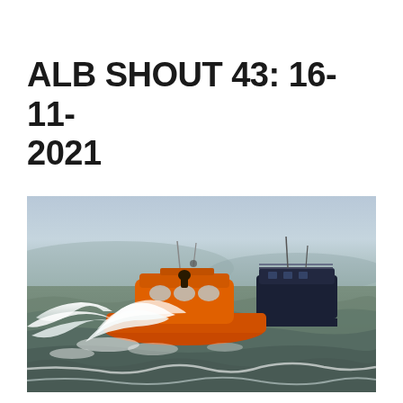ALB SHOUT 43: 16-11-2021
[Figure (photo): An orange RNLI all-weather lifeboat crashing through rough, choppy seas with white spray and foam, alongside a dark-hulled vessel. Overcast sky and grey-green churning water in background.]